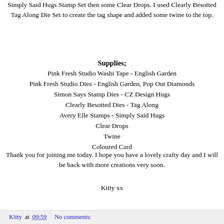Simply Said Hugs Stamp Set then some Clear Drops. I used Clearly Besotted Tag Along Die Set to create the tag shape and added some twine to the top.
Supplies;
Pink Fresh Studio Washi Tape - English Garden
Pink Fresh Studio Dies - English Garden, Pop Out Diamonds
Simon Says Stamp Dies - CZ Design Hugs
Clearly Besotted Dies - Tag Along
Avery Elle Stamps - Simply Said Hugs
Clear Drops
Twine
Coloured Card
Thank you for joining me today. I hope you have a lovely crafty day and I will be back with more creations very soon.
Kitty xx
Kitty at 09:59   No comments: